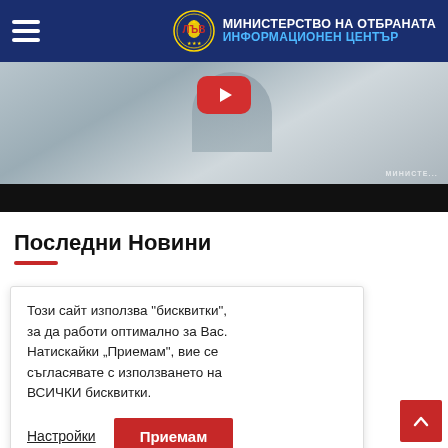МИНИСТЕРСТВО НА ОТБРАНАТА ИНФОРМАЦИОНЕН ЦЕНТЪР
[Figure (screenshot): Hero banner with a person and a red YouTube play button, black video bar below, watermark МИНИСТЕ... at bottom right]
Последни Новини
на САЩ ще със съюзници а
рия да се порт
Този сайт използва "бисквитки", за да работи оптимално за Вас. Натискайки „Приемам", вие се съгласявате с използването на ВСИЧКИ бисквитки.
Настройки
Приемам
29/06/2022